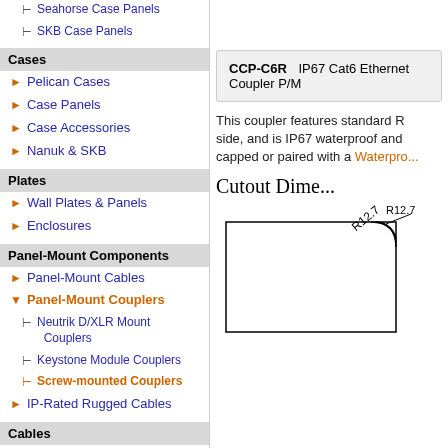⊢ Seahorse Case Panels
⊢ SKB Case Panels
Cases
► Pelican Cases
► Case Panels
► Case Accessories
► Nanuk & SKB
Plates
► Wall Plates & Panels
► Enclosures
Panel-Mount Components
► Panel-Mount Cables
▼ Panel-Mount Couplers
⊢ Neutrik D/XLR Mount Couplers
⊢ Keystone Module Couplers
⊢ Screw-mounted Couplers
► IP-Rated Rugged Cables
Cables
► USB Cables
► Video Cables
| Part | Description |
| --- | --- |
| CCP-C6R | IP67 Cat6 Ethernet Coupler P/M |
This coupler features standard R side, and is IP67 waterproof and capped or paired with a Waterproof...
Cutout Dime...
[Figure (engineering-diagram): Cutout dimension diagram showing a rectangular cutout with rounded corners, labeled R12.7]